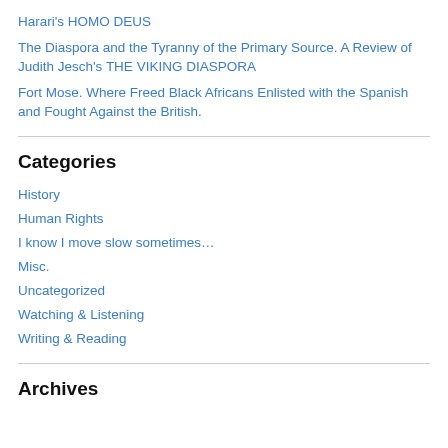Harari's HOMO DEUS
The Diaspora and the Tyranny of the Primary Source. A Review of Judith Jesch's THE VIKING DIASPORA
Fort Mose. Where Freed Black Africans Enlisted with the Spanish and Fought Against the British.
Categories
History
Human Rights
I know I move slow sometimes…
Misc.
Uncategorized
Watching & Listening
Writing & Reading
Archives